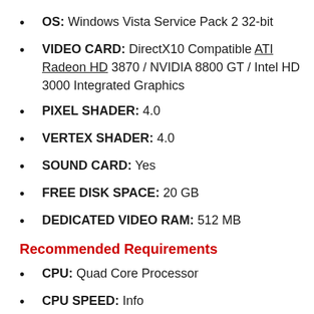OS: Windows Vista Service Pack 2 32-bit
VIDEO CARD: DirectX10 Compatible ATI Radeon HD 3870 / NVIDIA 8800 GT / Intel HD 3000 Integrated Graphics
PIXEL SHADER: 4.0
VERTEX SHADER: 4.0
SOUND CARD: Yes
FREE DISK SPACE: 20 GB
DEDICATED VIDEO RAM: 512 MB
Recommended Requirements
CPU: Quad Core Processor
CPU SPEED: Info
RAM: 4 GB
OS: Windows 7 Service Pack 1 64-bit